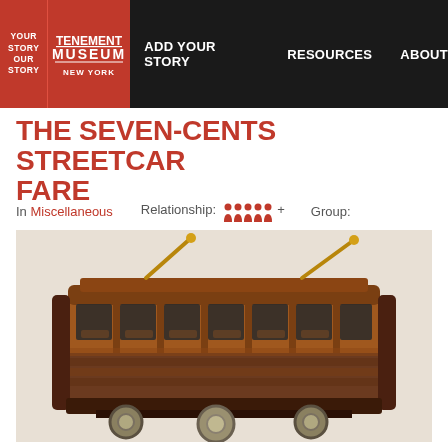YOUR STORY OUR STORY | TENEMENT MUSEUM | ADD YOUR STORY | RESOURCES | ABOUT
THE SEVEN-CENTS STREETCAR FARE
In Miscellaneous   Relationship: [group icon]+   Group:
[Figure (photo): A wooden model of a vintage streetcar/trolley with brass trolley poles on top, shown with three coins in front of it on a white textured background.]